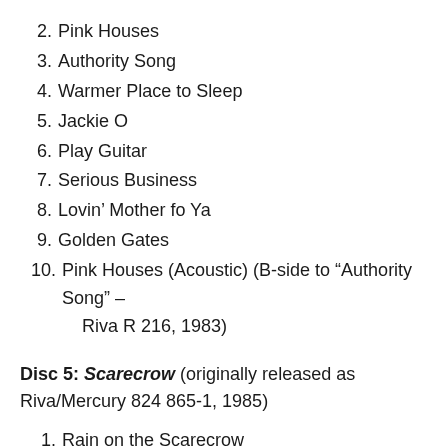2. Pink Houses
3. Authority Song
4. Warmer Place to Sleep
5. Jackie O
6. Play Guitar
7. Serious Business
8. Lovin’ Mother fo Ya
9. Golden Gates
10. Pink Houses (Acoustic) (B-side to “Authority Song” – Riva R 216, 1983)
Disc 5: Scarecrow (originally released as Riva/Mercury 824 865-1, 1985)
1. Rain on the Scarecrow
2. Grandma’s Theme
3. Small Town